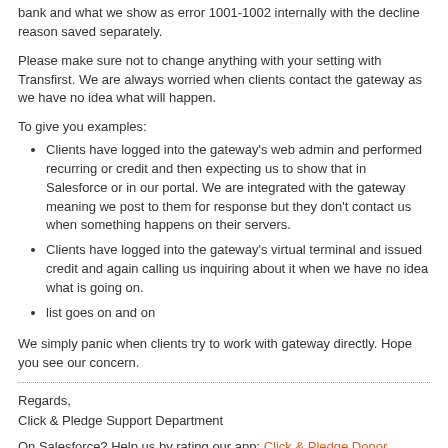bank and what we show as error 1001-1002 internally with the decline reason saved separately.
Please make sure not to change anything with your setting with Transfirst. We are always worried when clients contact the gateway as we have no idea what will happen.
To give you examples:
Clients have logged into the gateway's web admin and performed recurring or credit and then expecting us to show that in Salesforce or in our portal. We are integrated with the gateway meaning we post to them for response but they don't contact us when something happens on their servers.
Clients have logged into the gateway's virtual terminal and issued credit and again calling us inquiring about it when we have no idea what is going on.
list goes on and on
We simply panic when clients try to work with gateway directly. Hope you see our concern.
Regards,
Click & Pledge Support Department
On Salesforce? Help us by rating our app: Click & Pledge Donor Management on AppExchange
Join us @ the educational webinars: https://clickandpledge.com/webinars/
Live Support available Join between 3:00 - 3:30 p.m. ET Monday - Thursday: